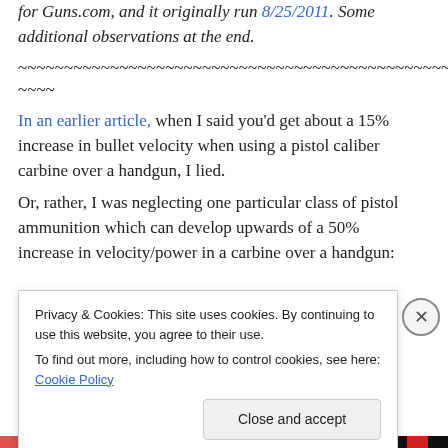for Guns.com, and it originally run 8/25/2011. Some additional observations at the end.
~~~~~~~~~~~~~~~~~~~~~~~~~~~~~~~~~~~~~~~~~~~~~~~~~~~~~~~~~~~~~~~~
In an earlier article, when I said you'd get about a 15% increase in bullet velocity when using a pistol caliber carbine over a handgun, I lied.
Or, rather, I was neglecting one particular class of pistol ammunition which can develop upwards of a 50% increase in velocity/power in a carbine over a handgun:
Privacy & Cookies: This site uses cookies. By continuing to use this website, you agree to their use.
To find out more, including how to control cookies, see here: Cookie Policy